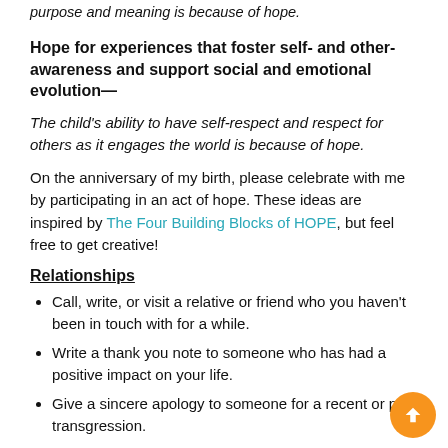purpose and meaning is because of hope.
Hope for experiences that foster self- and other- awareness and support social and emotional evolution—
The child's ability to have self-respect and respect for others as it engages the world is because of hope.
On the anniversary of my birth, please celebrate with me by participating in an act of hope. These ideas are inspired by The Four Building Blocks of HOPE, but feel free to get creative!
Relationships
Call, write, or visit a relative or friend who you haven't been in touch with for a while.
Write a thank you note to someone who has had a positive impact on your life.
Give a sincere apology to someone for a recent or past transgression.